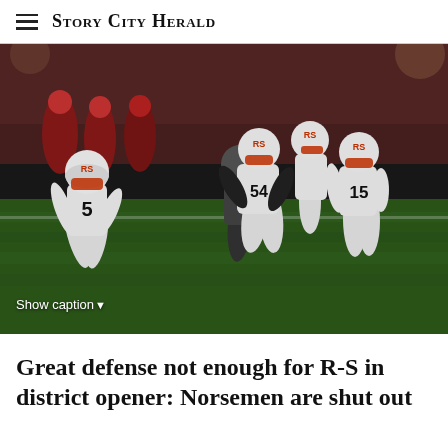Story City Herald
[Figure (photo): High school football game at night under stadium lights. Players in white uniforms with 'RS' helmets making a tackle. Player numbers visible include 5, 54, and 15. Red-uniformed opposing team visible in background.]
Show caption▼
Great defense not enough for R-S in district opener: Norsemen are shut out at Forest City, 15–0